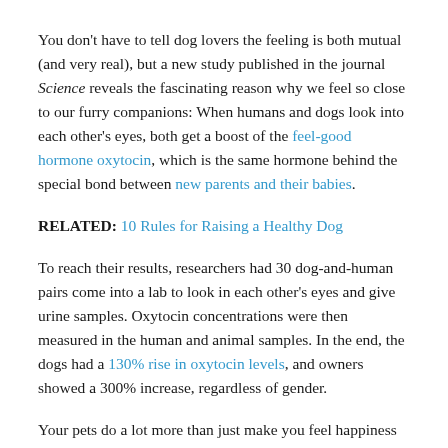You don't have to tell dog lovers the feeling is both mutual (and very real), but a new study published in the journal Science reveals the fascinating reason why we feel so close to our furry companions: When humans and dogs look into each other's eyes, both get a boost of the feel-good hormone oxytocin, which is the same hormone behind the special bond between new parents and their babies.
RELATED: 10 Rules for Raising a Healthy Dog
To reach their results, researchers had 30 dog-and-human pairs come into a lab to look in each other's eyes and give urine samples. Oxytocin concentrations were then measured in the human and animal samples. In the end, the dogs had a 130% rise in oxytocin levels, and owners showed a 300% increase, regardless of gender.
Your pets do a lot more than just make you feel happiness